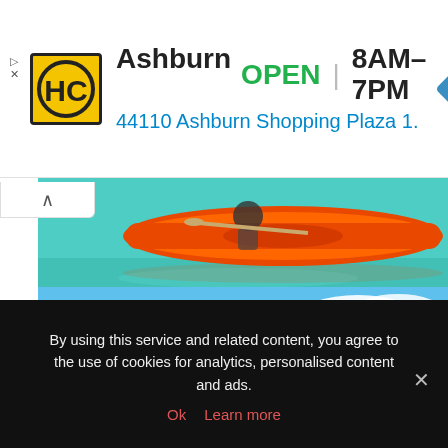[Figure (screenshot): HC hardware store advertisement banner: yellow HC logo, Ashburn OPEN 8AM-7PM, 44110 Ashburn Shopping Plaza 1., blue navigation diamond icon]
[Figure (photo): Orange kayak on clear turquoise water, person paddling]
[Figure (photo): Blue and red parasail parachute against blue sky with white clouds]
By using this service and related content, you agree to the use of cookies for analytics, personalised content and ads.
Ok  Learn more